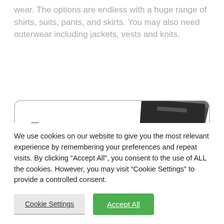wear. The options are endless with a huge range of shirts, suits, pants, and skirts. You may also need outerwear including jackets, vests and knits.
[Figure (photo): A promotional banner showing 'Browse our' text with a 'Suiting & Separates Wool Blend' product book/catalog partially visible, overlapping a rounded rectangle border.]
We use cookies on our website to give you the most relevant experience by remembering your preferences and repeat visits. By clicking “Accept All”, you consent to the use of ALL the cookies. However, you may visit “Cookie Settings” to provide a controlled consent.
Cookie Settings
Accept All